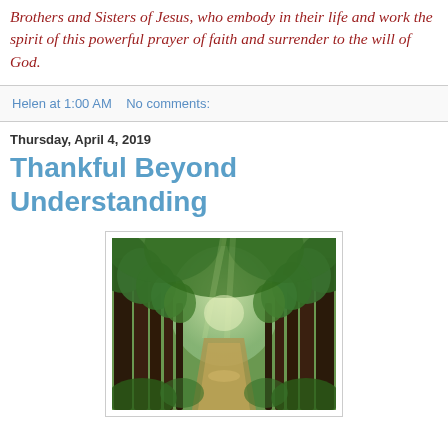Brothers and Sisters of Jesus, who embody in their life and work the spirit of this powerful prayer of faith and surrender to the will of God.
Helen at 1:00 AM    No comments:
Thursday, April 4, 2019
Thankful Beyond Understanding
[Figure (photo): A tree-lined path through a lush green forest, with tall trees forming a canopy overhead and a winding dirt path leading into soft light in the distance.]